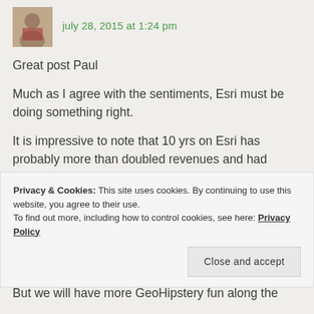july 28, 2015 at 1:24 pm
Great post Paul
Much as I agree with the sentiments, Esri must be doing something right.
It is impressive to note that 10 yrs on Esri has probably more than doubled revenues and had 14,000 at the recent UC. Google have canned Maps Engine/Earth Enterprise, other purer GI businesses are facing difficulties, time will tell what happens to MapBo…
Privacy & Cookies: This site uses cookies. By continuing to use this website, you agree to their use.
To find out more, including how to control cookies, see here: Privacy Policy
Close and accept
But we will have more GeoHipstery fun along the